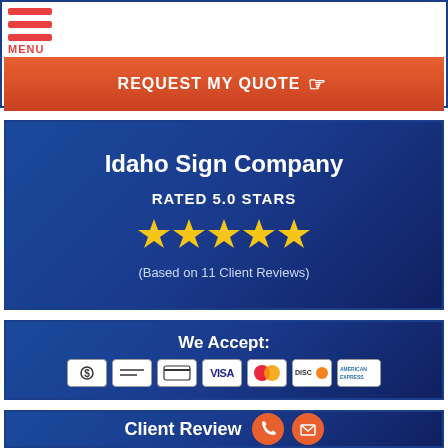[Figure (screenshot): Menu hamburger icon with three red horizontal lines and MENU label]
[Figure (screenshot): Orange/red REQUEST MY QUOTE button with hand pointer icon]
Idaho Sign Company
RATED 5.0 STARS
[Figure (infographic): Five gold stars rating]
(Based on 11 Client Reviews)
We Accept:
[Figure (infographic): Payment method icons: cash, check, credit card, Visa, Mastercard, Discover, American Express]
Client Review
[Figure (infographic): Phone and email orange circle icons]